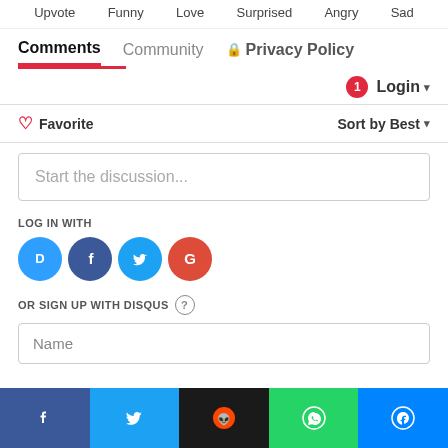Upvote  Funny  Love  Surprised  Angry  Sad
Comments  Community  Privacy Policy
1  Login ▾
♡ Favorite    Sort by Best ▾
Start the discussion...
LOG IN WITH
[Figure (infographic): Four social login buttons: Disqus (blue), Facebook (dark blue), Twitter (light blue), Google (red)]
OR SIGN UP WITH DISQUS ?
Name
[Figure (infographic): Bottom share bar with Facebook, Twitter, Reddit, WhatsApp, Messenger icons]